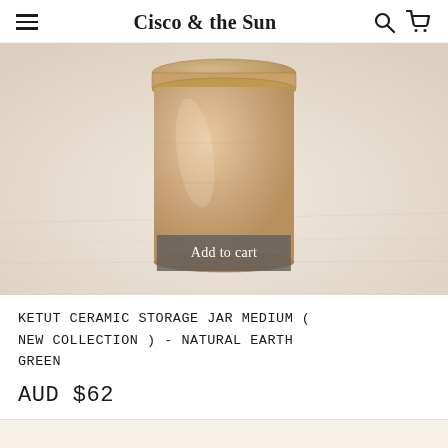Cisco & the Sun
[Figure (photo): A ceramic storage jar with a lid, natural tan/earth tone color, photographed from above at an angle on a light cream/white textile background. A gray 'Add to cart' button overlay appears at the bottom center of the image.]
KETUT CERAMIC STORAGE JAR MEDIUM ( NEW COLLECTION ) - NATURAL EARTH GREEN
AUD $62